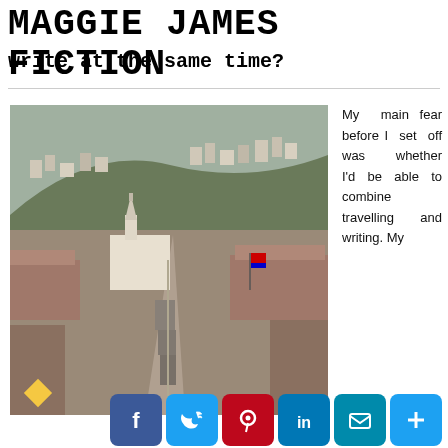MAGGIE JAMES FICTION
write at the same time?
[Figure (photo): Aerial view of a busy street in a South American city, likely Quito, Ecuador, with historic colonial architecture, church steeple, crowds of people, flags, and hillside buildings in the background.]
My main fear before I set off was whether I'd be able to combine travelling and writing. My